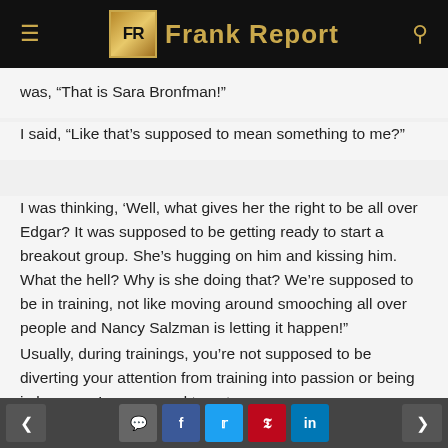Frank Report
was, “That is Sara Bronfman!”
I said, “Like that’s supposed to mean something to me?”
I was thinking, ‘Well, what gives her the right to be all over Edgar? It was supposed to be getting ready to start a breakout group. She’s hugging on him and kissing him. What the hell? Why is she doing that? We’re supposed to be in training, not like moving around smooching all over people and Nancy Salzman is letting it happen!”
Usually, during trainings, you’re not supposed to be diverting your attention from training into passion or being in love; you’re supposed to not